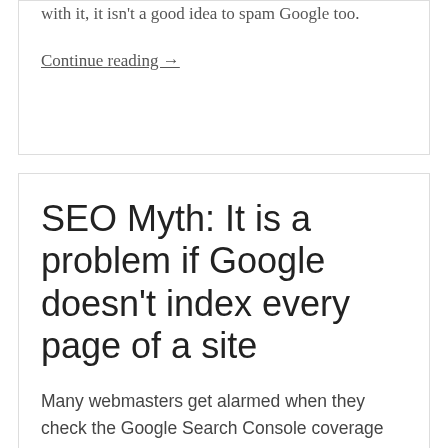with it, it isn't a good idea to spam Google too.
Continue reading →
SEO Myth: It is a problem if Google doesn't index every page of a site
Many webmasters get alarmed when they check the Google Search Console coverage